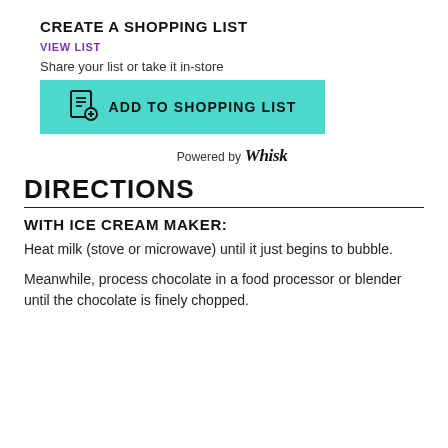CREATE A SHOPPING LIST
VIEW LIST
Share your list or take it in-store
[Figure (other): Teal button with clipboard-plus icon and text ADD TO SHOPPING LIST]
Powered by Whisk
DIRECTIONS
WITH ICE CREAM MAKER:
Heat milk (stove or microwave) until it just begins to bubble.
Meanwhile, process chocolate in a food processor or blender until the chocolate is finely chopped.